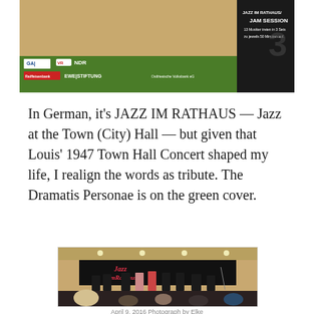[Figure (photo): Top portion of a green event banner for Jazz im Rathaus with sponsor logos including GAJ, VR, NDR, Raiffeisenbank, EWE Stiftung, Ostfriesische Volksbank, with dark right section showing JAM SESSION text]
In German, it’s JAZZ IM RATHAUS — Jazz at the Town (City) Hall — but given that Louis’ 1947 Town Hall Concert shaped my life, I realign the words as tribute.  The Dramatis Personae is on the green cover.
[Figure (photo): Jazz im Rathaus performance photo showing musicians on stage with a banner reading 'Jazz imRathaus' in red lettering, audience seated in foreground, taken April 9, 2016, Photograph by Elke]
April 9, 2016  Photograph by Elke